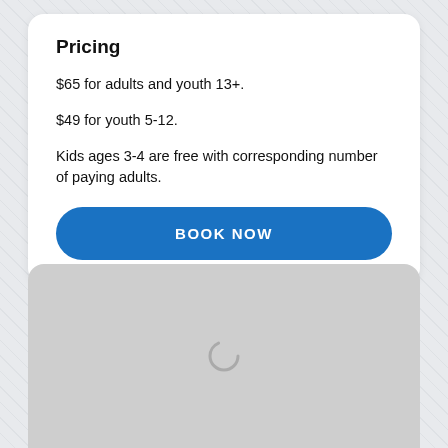Pricing
$65 for adults and youth 13+.
$49 for youth 5-12.
Kids ages 3-4 are free with corresponding number of paying adults.
BOOK NOW
[Figure (other): Gray loading placeholder card at the bottom of the page with a loading spinner icon in the center]